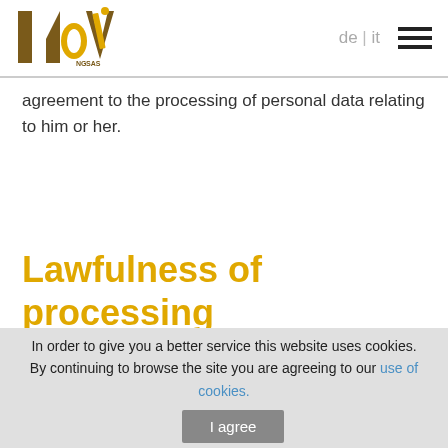MoVi NG SAS — de | it
agreement to the processing of personal data relating to him or her.
Lawfulness of processing
In order to give you a better service this website uses cookies. By continuing to browse the site you are agreeing to our use of cookies.